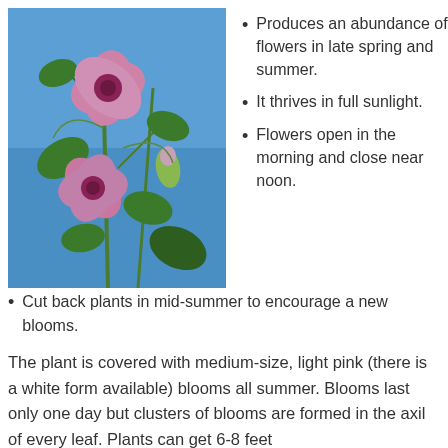[Figure (photo): Photograph of pink hibiscus flowers against a blue sky with green leaves and stems]
Produces an abundance of flowers in late spring and summer.
It thrives in full sunlight.
Flowers open in the morning and close near noon.
Cut back plants in mid-summer to encourage a new blooms.
The plant is covered with medium-size, light pink (there is a white form available) blooms all summer. Blooms last only one day but clusters of blooms are formed in the axil of every leaf. Plants can get 6-8 feet